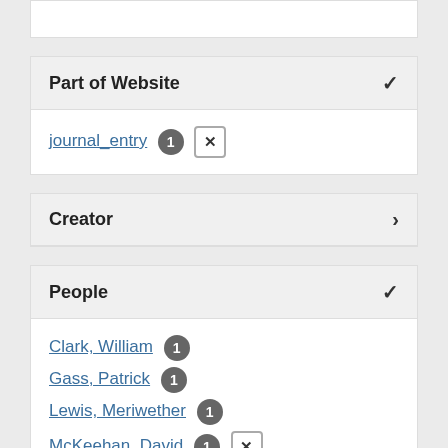Part of Website
journal_entry 1 ✕
Creator
People
Clark, William 1
Gass, Patrick 1
Lewis, Meriwether 1
McKeehan, David 1 ✕